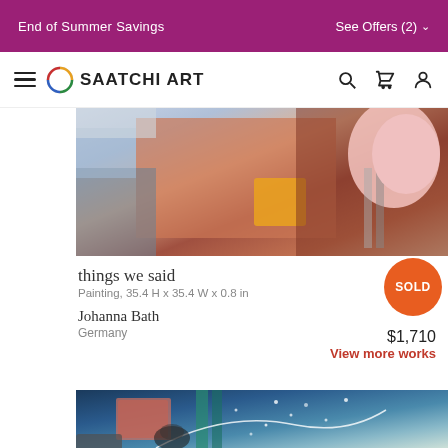End of Summer Savings    See Offers (2)
[Figure (screenshot): Saatchi Art website navigation bar with hamburger menu, circular logo, SAATCHI ART wordmark, and search/cart/user icons]
[Figure (photo): Abstract painting 'things we said' by Johanna Bath, showing colorful abstract shapes with pinkish, orange, red, and blue tones]
things we said
Painting, 35.4 H x 35.4 W x 0.8 in
Johanna Bath
Germany
SOLD
$1,710
View more works
[Figure (photo): Second abstract painting — dark blue, teal, and white tones with swirling shapes, dots of white light, and colorful rectangular forms]